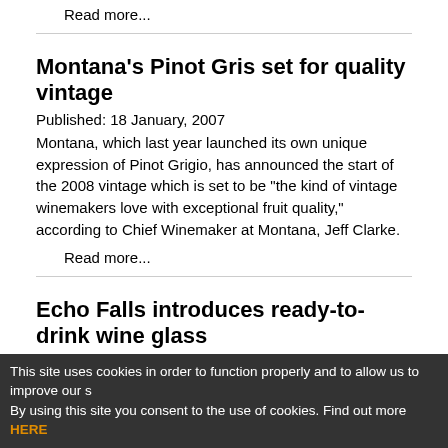Read more...
Montana's Pinot Gris set for quality vintage
Published:  18 January, 2007
Montana, which last year launched its own unique expression of Pinot Grigio, has announced the start of the 2008 vintage which is set to be "the kind of vintage winemakers love with exceptional fruit quality," according to Chief Winemaker at Montana, Jeff Clarke.
Read more...
Echo Falls introduces ready-to-drink wine glass
Published:  18 January, 2007
Californian wine brand Echo Falls has announced its new ready-to-drink (RTD) PET wine glass.
Read more...
This site uses cookies in order to function properly and to allow us to improve our s By using this site you consent to the use of cookies. Find out more HERE